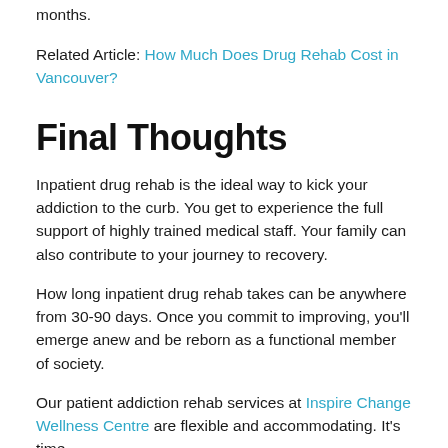The addiction recovery timeline can last a minimum of 3 months.
Related Article: How Much Does Drug Rehab Cost in Vancouver?
Final Thoughts
Inpatient drug rehab is the ideal way to kick your addiction to the curb. You get to experience the full support of highly trained medical staff. Your family can also contribute to your journey to recovery.
How long inpatient drug rehab takes can be anywhere from 30-90 days. Once you commit to improving, you'll emerge anew and be reborn as a functional member of society.
Our patient addiction rehab services at Inspire Change Wellness Centre are flexible and accommodating. It's time